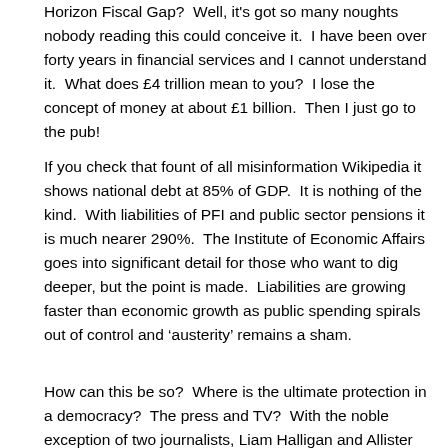Horizon Fiscal Gap?  Well, it's got so many noughts nobody reading this could conceive it.  I have been over forty years in financial services and I cannot understand it.  What does £4 trillion mean to you?  I lose the concept of money at about £1 billion.  Then I just go to the pub!
If you check that fount of all misinformation Wikipedia it shows national debt at 85% of GDP.  It is nothing of the kind.  With liabilities of PFI and public sector pensions it is much nearer 290%.  The Institute of Economic Affairs goes into significant detail for those who want to dig deeper, but the point is made.  Liabilities are growing faster than economic growth as public spending spirals out of control and 'austerity' remains a sham.
How can this be so?  Where is the ultimate protection in a democracy?  The press and TV?  With the noble exception of two journalists, Liam Halligan and Allister Heath, no so called